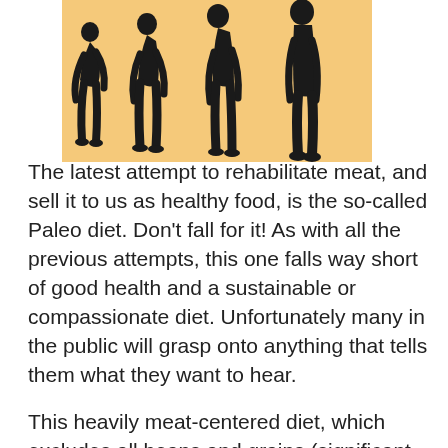[Figure (illustration): Human evolution silhouette illustration showing progression from hunched ape-like figure to upright human, black silhouettes on tan/orange background]
The latest attempt to rehabilitate meat, and sell it to us as healthy food, is the so-called Paleo diet. Don't fall for it! As with all the previous attempts, this one falls way short of good health and a sustainable or compassionate diet. Unfortunately many in the public will grasp onto anything that tells them what they want to hear.

This heavily meat-centered diet, which excludes all beans and grains (significant prohibitions), relies upon the excuse that the caveman ate that way, so we should too. For this new diet in particular, the assumptions and the reasoning really need to be questioned.  We'll do just that. Then we'll review what we really do know and what facts we can count on.  But we can tell you right